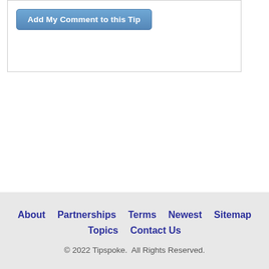[Figure (screenshot): A button labeled 'Add My Comment to this Tip' with a blue gradient background inside a white bordered box]
About  |  Partnerships  |  Terms  |  Newest  |  Sitemap
Topics  |  Contact Us
© 2022 Tipspoke.  All Rights Reserved.